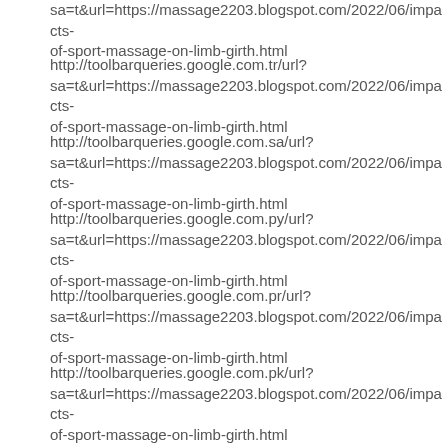sa=t&url=https://massage2203.blogspot.com/2022/06/impacts-of-sport-massage-on-limb-girth.html
http://toolbarqueries.google.com.tr/url?sa=t&url=https://massage2203.blogspot.com/2022/06/impacts-of-sport-massage-on-limb-girth.html
http://toolbarqueries.google.com.sa/url?sa=t&url=https://massage2203.blogspot.com/2022/06/impacts-of-sport-massage-on-limb-girth.html
http://toolbarqueries.google.com.py/url?sa=t&url=https://massage2203.blogspot.com/2022/06/impacts-of-sport-massage-on-limb-girth.html
http://toolbarqueries.google.com.pr/url?sa=t&url=https://massage2203.blogspot.com/2022/06/impacts-of-sport-massage-on-limb-girth.html
http://toolbarqueries.google.com.pk/url?sa=t&url=https://massage2203.blogspot.com/2022/06/impacts-of-sport-massage-on-limb-girth.html
http://toolbarqueries.google.com.pe/url?sa=t&url=https://massage2203.blogspot.com/2022/06/impacts-of-sport-massage-on-limb-girth.html
http://toolbarqueries.google.com.my/url?sa=t&url=https://massage2203.blogspot.com/2022/06/impacts-of-sport-massage-on-limb-girth.html